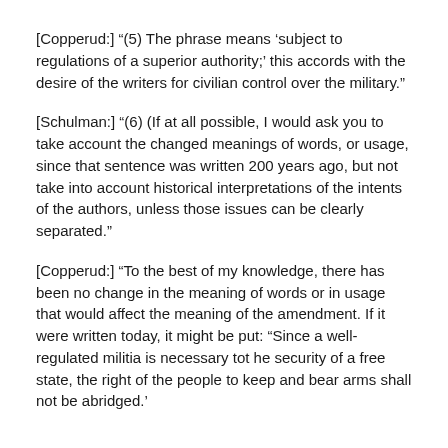[Copperud:] “(5) The phrase means ‘subject to regulations of a superior authority;’ this accords with the desire of the writers for civilian control over the military.”
[Schulman:] “(6) (If at all possible, I would ask you to take account the changed meanings of words, or usage, since that sentence was written 200 years ago, but not take into account historical interpretations of the intents of the authors, unless those issues can be clearly separated.”
[Copperud:] “To the best of my knowledge, there has been no change in the meaning of words or in usage that would affect the meaning of the amendment. If it were written today, it might be put: “Since a well-regulated militia is necessary tot he security of a free state, the right of the people to keep and bear arms shall not be abridged.’